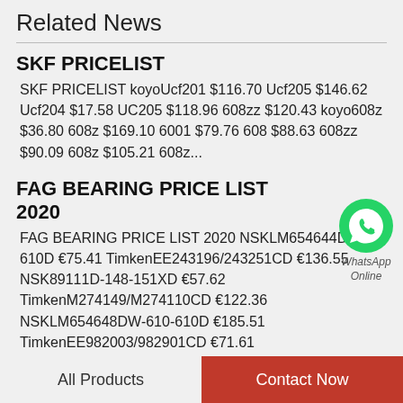Related News
SKF PRICELIST
SKF PRICELIST koyoUcf201 $116.70 Ucf205 $146.62 Ucf204 $17.58 UC205 $118.96 608zz $120.43 koyo608z $36.80 608z $169.10 6001 $79.76 608 $88.63 608zz $90.09 608z $105.21 608z...
[Figure (logo): WhatsApp green phone icon with WhatsApp Online label]
FAG BEARING PRICE LIST 2020
FAG BEARING PRICE LIST 2020 NSKLM654644D-610-610D €75.41 TimkenEE243196/243251CD €136.55 NSK89111D-148-151XD €57.62 TimkenM274149/M274110CD €122.36 NSKLM654648DW-610-610D €185.51 TimkenEE982003/982901CD €71.61
All Products   Contact Now